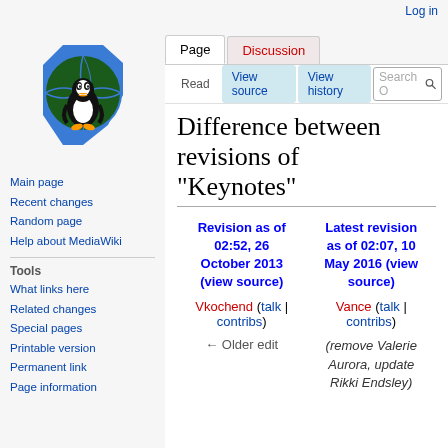Log in
[Figure (logo): Ohio Linux logo: penguin Tux on Ohio state shape with globe]
Main page
Recent changes
Random page
Help about MediaWiki
Tools
What links here
Related changes
Special pages
Printable version
Permanent link
Page information
Difference between revisions of "Keynotes"
| Revision as of 02:52, 26 October 2013 (view source) | Latest revision as of 02:07, 10 May 2016 (view source) |
| --- | --- |
| Vkochend (talk | contribs) | Vance (talk | contribs) |
| ← Older edit | (remove Valerie Aurora, update Rikki Endsley) |